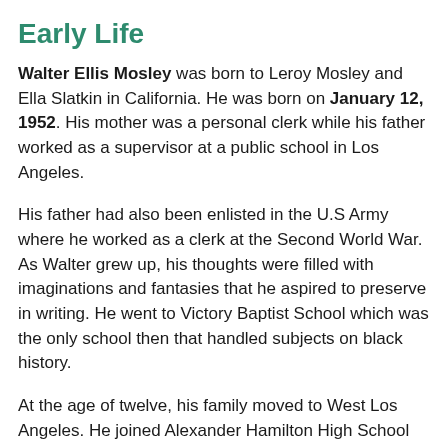Early Life
Walter Ellis Mosley was born to Leroy Mosley and Ella Slatkin in California. He was born on January 12, 1952. His mother was a personal clerk while his father worked as a supervisor at a public school in Los Angeles.
His father had also been enlisted in the U.S Army where he worked as a clerk at the Second World War. As Walter grew up, his thoughts were filled with imaginations and fantasies that he aspired to preserve in writing. He went to Victory Baptist School which was the only school then that handled subjects on black history.
At the age of twelve, his family moved to West Los Angeles. He joined Alexander Hamilton High School